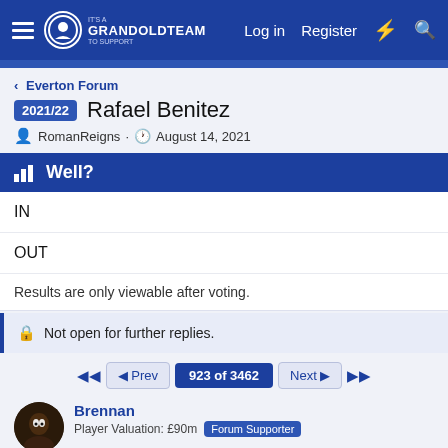GrandOldTeam — Log in | Register
< Everton Forum
2021/22 Rafael Benitez
RomanReigns · August 14, 2021
Well?
IN
OUT
Results are only viewable after voting.
Not open for further replies.
◄◄  ◄ Prev   923 of 3462   Next ►  ►►
Brennan
Player Valuation: £90m   Forum Supporter